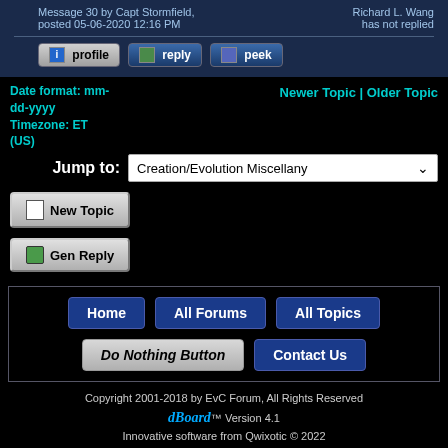Message 30 by Capt Stormfield, posted 05-06-2020 12:16 PM
Richard L. Wang has not replied
[Figure (screenshot): Forum action buttons: profile, reply, peek]
Date format: mm-dd-yyyy
Timezone: ET (US)
Newer Topic | Older Topic
Jump to:
[Figure (screenshot): Dropdown: Creation/Evolution Miscellany]
[Figure (screenshot): New Topic button]
[Figure (screenshot): Gen Reply button]
[Figure (screenshot): Footer navigation buttons: Home, All Forums, All Topics, Do Nothing Button, Contact Us]
Copyright 2001-2018 by EvC Forum, All Rights Reserved
dBoard™ Version 4.1
Innovative software from Qwixotic © 2022